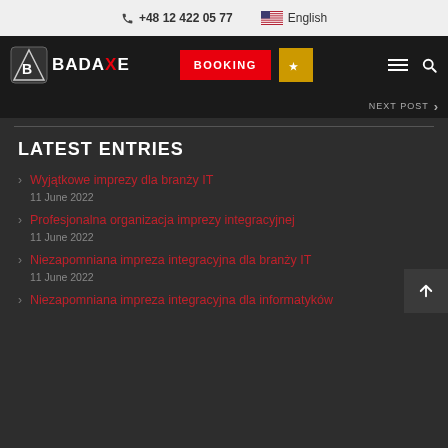+48 12 422 05 77  English
[Figure (logo): Badaxe logo with axe icon and red X letter]
BOOKING
NEXT POST
LATEST ENTRIES
Wyjątkowe imprezy dla branży IT
11 June 2022
Profesjonalna organizacja imprezy integracyjnej
11 June 2022
Niezapomniana impreza integracyjna dla branży IT
11 June 2022
Niezapomniana impreza integracyjna dla informatyków